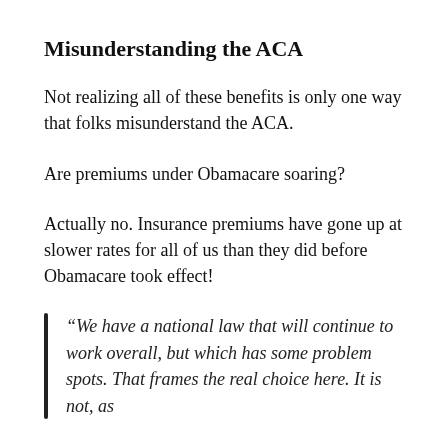Misunderstanding the ACA
Not realizing all of these benefits is only one way that folks misunderstand the ACA.
Are premiums under Obamacare soaring?
Actually no. Insurance premiums have gone up at slower rates for all of us than they did before Obamacare took effect!
“We have a national law that will continue to work overall, but which has some problem spots. That frames the real choice here. It is not, as